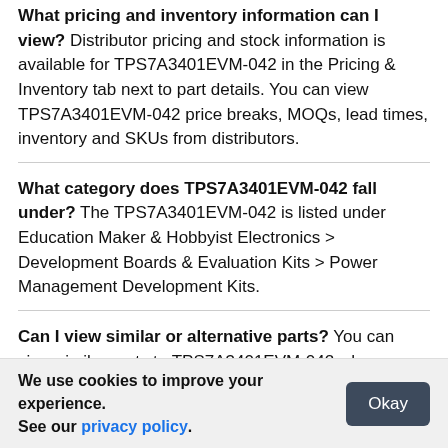What pricing and inventory information can I view? Distributor pricing and stock information is available for TPS7A3401EVM-042 in the Pricing & Inventory tab next to part details. You can view TPS7A3401EVM-042 price breaks, MOQs, lead times, inventory and SKUs from distributors.
What category does TPS7A3401EVM-042 fall under? The TPS7A3401EVM-042 is listed under Education Maker & Hobbyist Electronics > Development Boards & Evaluation Kits > Power Management Development Kits.
Can I view similar or alternative parts? You can view similar parts to TPS7A3401EVM-042 when
We use cookies to improve your experience. See our privacy policy.